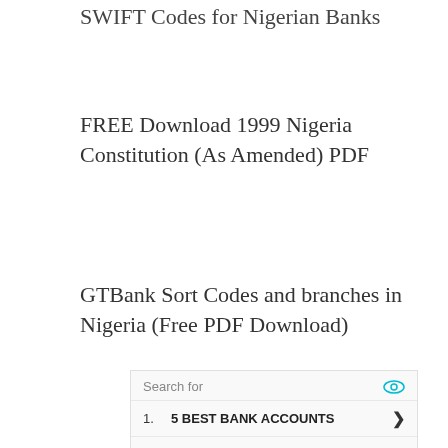SWIFT Codes for Nigerian Banks
FREE Download 1999 Nigeria Constitution (As Amended) PDF
GTBank Sort Codes and branches in Nigeria (Free PDF Download)
[Figure (other): Advertisement widget showing 'Search for' header with eye icon, listing '1. 5 BEST BANK ACCOUNTS' and '2. 7% INTEREST SAVINGS ACCOUNTS' with chevron arrows, and a play icon at bottom right]